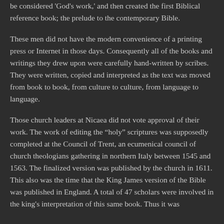be considered 'God's work,' and then created the first Biblical reference book; the prelude to the contemporary Bible.
These men did not have the modern convenience of a printing press or Internet in those days. Consequently all of the books and writings they drew upon were carefully hand-written by scribes. They were written, copied and interpreted as the text was moved from book to book, from culture to culture, from language to language.
Those church leaders at Nicaea did not vote approval of their work. The work of editing the “holy” scriptures was supposedly completed at the Council of Trent, an ecumenical council of church theologians gathering in northern Italy between 1545 and 1563. The finalized version was published by the church in 1611. This also was the time that the King James version of the Bible was published in England. A total of 47 scholars were involved in the king's interpretation of this same book. Thus it was